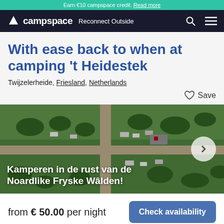Earn €10 campspace credit. Read more
campspace Reconnect Outside
With ease back to when at camping 't Heidestek
Twijzelerheide, Friesland, Netherlands
Save
[Figure (photo): Aerial view of camping 't Heidestek showing campsites, caravans, and trees surrounded by green fields. Text overlay reads: Kamperen in de rust van de Noardlike Fryske Wâlden!]
from € 50.00 per night
Check availability